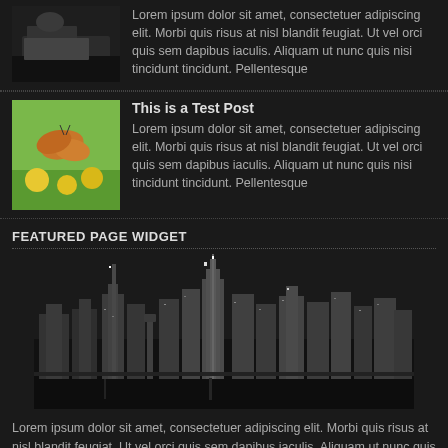[Figure (photo): Person typing on a laptop, dark background, thumbnail image]
Lorem ipsum dolor sit amet, consectetuer adipiscing elit. Morbi quis risus at nisl blandit feugiat. Ut vel orci quis sem dapibus iaculis. Aliquam ut nunc quis nisi tincidunt tincidunt. Pellentesque
[Figure (photo): Butterfly on yellow flowers, thumbnail image]
This is a Test Post
Lorem ipsum dolor sit amet, consectetuer adipiscing elit. Morbi quis risus at nisl blandit feugiat. Ut vel orci quis sem dapibus iaculis. Aliquam ut nunc quis nisi tincidunt tincidunt. Pellentesque
FEATURED PAGE WIDGET
[Figure (photo): Black and white nighttime city skyline, likely New York City, with buildings lit up reflected in water]
Lorem ipsum dolor sit amet, consectetuer adipiscing elit. Morbi quis risus at nisl blandit feugiat. Ut vel orci quis sem dapibus iaculis. Aliquam ut nunc quis nisi tincidunt tincidunt. Pellentesque enim. Sed et leo nec augue mollis pharetra. Pellentesque enim. Sed ... Read More »